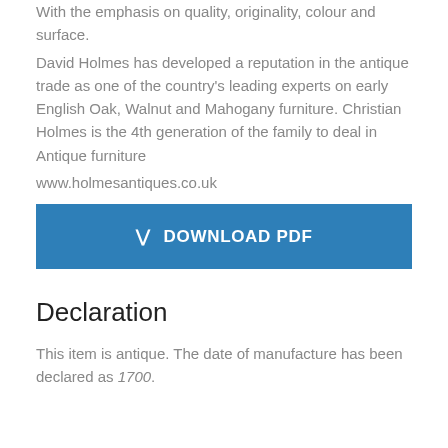With the emphasis on quality, originality, colour and surface.
David Holmes has developed a reputation in the antique trade as one of the country's leading experts on early English Oak, Walnut and Mahogany furniture. Christian Holmes is the 4th generation of the family to deal in Antique furniture
www.holmesantiques.co.uk
[Figure (other): Download PDF button in blue]
Declaration
This item is antique. The date of manufacture has been declared as 1700.